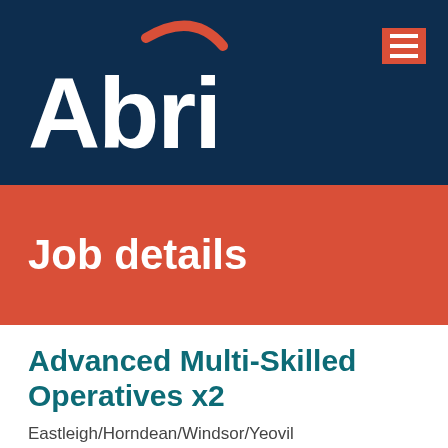[Figure (logo): Abri logo — white text 'Abri' with a red arc above, on dark navy background]
Job details
Advanced Multi-Skilled Operatives x2
Eastleigh/Horndean/Windsor/Yeovil